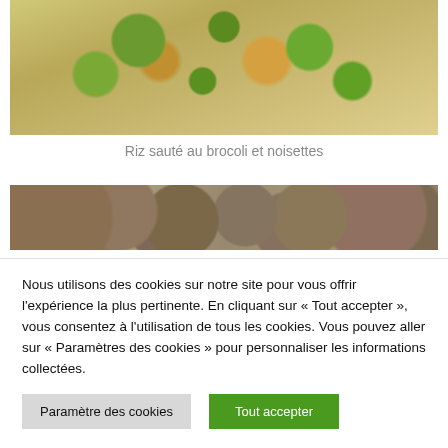[Figure (photo): Food photo: rice sautéed with broccoli and hazelnuts on a white plate, seen from above]
Riz sauté au brocoli et noisettes
[Figure (photo): Close-up photo of mixed grains or seeds, brownish tones]
Nous utilisons des cookies sur notre site pour vous offrir l'expérience la plus pertinente. En cliquant sur « Tout accepter », vous consentez à l'utilisation de tous les cookies. Vous pouvez aller sur « Paramètres des cookies » pour personnaliser les informations collectées.
Paramètre des cookies
Tout accepter